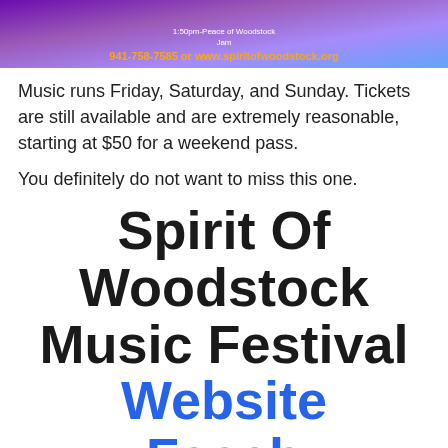[Figure (other): Banner with purple-to-blue gradient background. Text: '1:50pm-Peace of Woodstock Jam' and contact info '941-758-7585 or www.spiritofwoodstock.org']
Music runs Friday, Saturday, and Sunday. Tickets are still available and are extremely reasonable, starting at $50 for a weekend pass.
You definitely do not want to miss this one.
Spirit Of Woodstock Music Festival Website Facebook